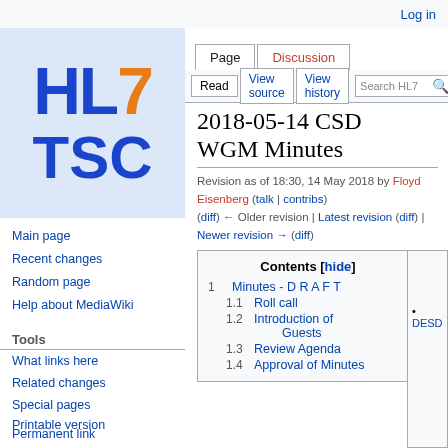Log in
[Figure (logo): HL7 TSC logo with blue HL7 text and orange 7, blue TSC text on light blue background]
Page | Discussion | Read | View source | View history | Search HL7
2018-05-14 CSD WGM Minutes
Revision as of 18:30, 14 May 2018 by Floyd Eisenberg (talk | contribs) (diff) ← Older revision | Latest revision (diff) | Newer revision → (diff)
Main page
Recent changes
Random page
Help about MediaWiki
Tools
What links here
Related changes
Special pages
Printable version
Permanent link
Page information
| Contents [hide] |
| --- |
| 1  Minutes - D R A F T |
| 1.1  Roll call |
| 1.2  Introduction of Guests |
| 1.3  Review Agenda |
| 1.4  Approval of Minutes for Nov Cha... |
• DESD